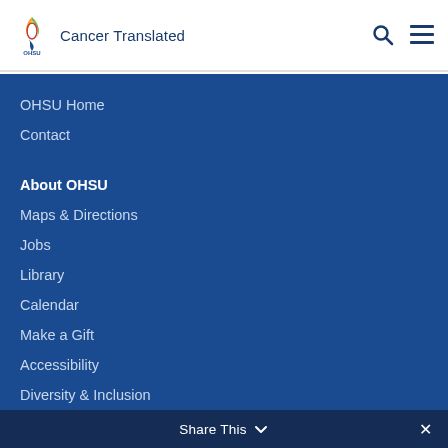Cancer Translated
OHSU Home
Contact
About OHSU
Maps & Directions
Jobs
Library
Calendar
Make a Gift
Accessibility
Diversity & Inclusion
Integrity
Affirmative Action and Equal Opportunity
Title IX
Share This